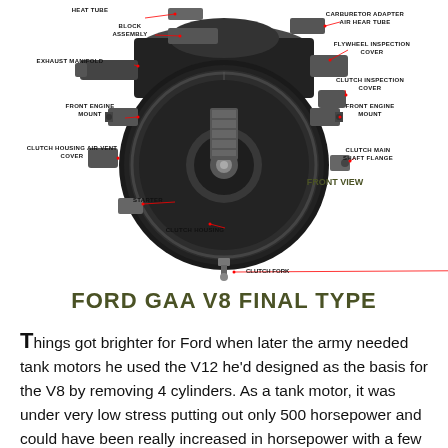[Figure (engineering-diagram): Front view diagram of Ford GAA V8 engine showing labeled components: Heat Tube, Block Assembly, Exhaust Manifold, Front Engine Mount, Clutch Housing Air Vent Cover, Starter, Clutch Housing, Clutch Fork, Clutch Main Shaft Flange, Front Engine Mount (right), Clutch Inspection Cover, Flywheel Inspection Cover, Carburetor Adapter Air Hear Tube. Label 'FRONT VIEW' in olive/green bold text.]
FORD GAA V8 FINAL TYPE
Things got brighter for Ford when later the army needed tank motors he used the V12 he'd designed as the basis for the V8 by removing 4 cylinders. As a tank motor, it was under very low stress putting out only 500 horsepower and could have been really increased in horsepower with a few tweaks. It was also very overbuilt, using many techniques